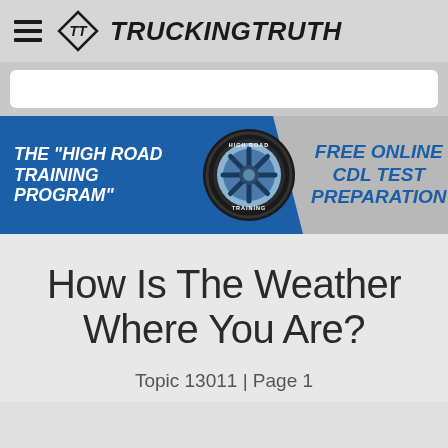TruckingTruth
[Figure (infographic): High Road Training Program banner with truck wheel logo. Left side blue background: THE "HIGH ROAD TRAINING PROGRAM". Center: High Road Training wheel logo. Right side gray background: FREE ONLINE CDL TEST PREPARATION in blue italic text.]
How Is The Weather Where You Are?
Topic 13011 | Page 1